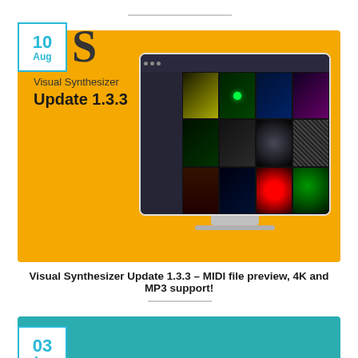[Figure (screenshot): Yellow/orange card with date badge showing '10 Aug', Visual Synthesizer logo S, text 'Visual Synthesizer Update 1.3.3', and a screenshot of the Visual Synthesizer software showing a grid of visual effects.]
Visual Synthesizer Update 1.3.3 – MIDI file preview, 4K and MP3 support!
[Figure (screenshot): Teal/cyan card with date badge showing '03 Aug', partially visible at bottom of page.]